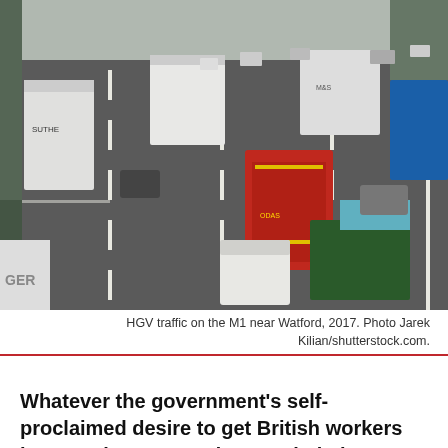[Figure (photo): HGV traffic on the M1 motorway near Watford, 2017. Multiple lanes of trucks, vans, and cars on a busy UK motorway.]
HGV traffic on the M1 near Watford, 2017. Photo Jarek Kilian/shutterstock.com.
Whatever the government’s self-proclaimed desire to get British workers into employment and turn Britain into a high wage economy, its instinctive